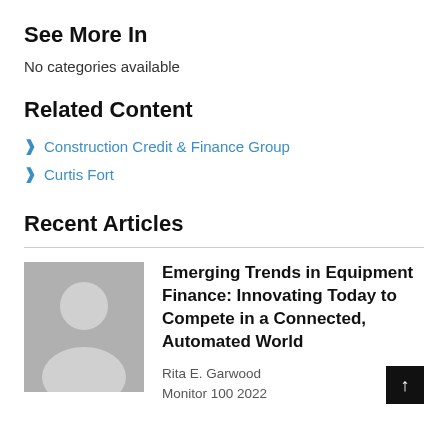See More In
No categories available
Related Content
Construction Credit & Finance Group
Curtis Fort
Recent Articles
[Figure (illustration): Gray silhouette placeholder avatar of a person]
Emerging Trends in Equipment Finance: Innovating Today to Compete in a Connected, Automated World
Rita E. Garwood
Monitor 100 2022